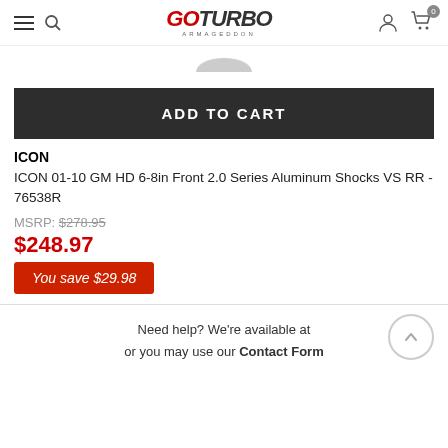GoTurbo Armageddon - navigation header with hamburger menu, search, logo, user icon, cart (0)
[Figure (other): Partial product image (bottom arc visible)]
ADD TO CART
ICON
ICON 01-10 GM HD 6-8in Front 2.0 Series Aluminum Shocks VS RR - 76538R
MSRP: $278.95
$248.97
You save $29.98
Need help? We're available at or you may use our Contact Form